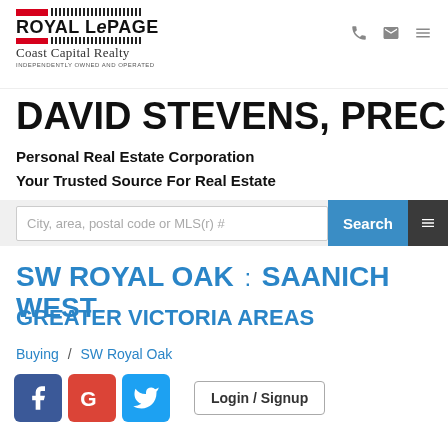[Figure (logo): Royal LePage Coast Capital Realty logo with red bars and barcode pattern]
DAVID STEVENS, PREC
Personal Real Estate Corporation
Your Trusted Source For Real Estate
City, area, postal code or MLS(r) #
SW ROYAL OAK : SAANICH WEST
GREATER VICTORIA AREAS
Buying / SW Royal Oak
[Figure (other): Social media icons: Facebook, Google, Twitter; Login / Signup button]